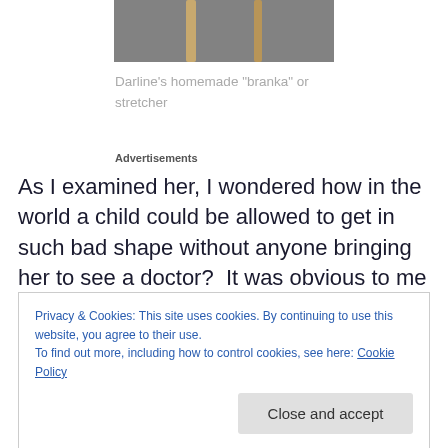[Figure (photo): Photo of Darline's homemade branka or stretcher — two wooden sticks on a grey surface, partially visible at top of page]
Darline's homemade “branka” or stretcher
Advertisements
As I examined her, I wondered how in the world a child could be allowed to get in such bad shape without anyone bringing her to see a doctor?  It was obvious to me that
Privacy & Cookies: This site uses cookies. By continuing to use this website, you agree to their use.
To find out more, including how to control cookies, see here: Cookie Policy
Close and accept